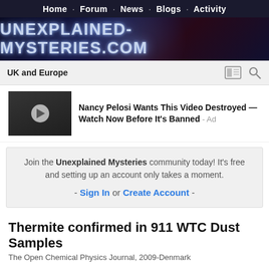Home · Forum · News · Blogs · Activity
[Figure (logo): UNEXPLAINED-MYSTERIES.COM banner logo with glowing blue/dark background]
UK and Europe
[Figure (photo): Thumbnail of Nancy Pelosi video ad with play button]
Nancy Pelosi Wants This Video Destroyed — Watch Now Before It's Banned - Ad
Join the Unexplained Mysteries community today! It's free and setting up an account only takes a moment. - Sign In or Create Account -
Thermite confirmed in 911 WTC Dust Samples
The Open Chemical Physics Journal, 2009-Denmark
★★☆☆☆
By acidhead,
April 4, 2009 in UK and Europe